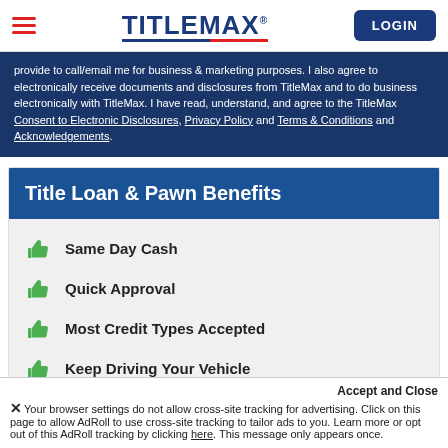TitleMax - LOGIN
provide to call/email me for business & marketing purposes. I also agree to electronically receive documents and disclosures from TitleMax and to do business electronically with TitleMax. I have read, understand, and agree to the TitleMax Consent to Electronic Disclosures, Privacy Policy and Terms & Conditions and Acknowledgements.
Title Loan & Pawn Benefits
Same Day Cash
Quick Approval
Most Credit Types Accepted
Keep Driving Your Vehicle
Competitive Rates
Accept and Close
✕ Your browser settings do not allow cross-site tracking for advertising. Click on this page to allow AdRoll to use cross-site tracking to tailor ads to you. Learn more or opt out of this AdRoll tracking by clicking here. This message only appears once.